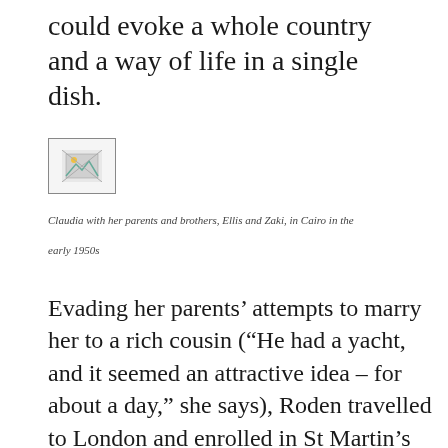could evoke a whole country and a way of life in a single dish.
[Figure (photo): Small thumbnail photo placeholder with broken image icon, representing Claudia with her parents and brothers in Cairo in the early 1950s]
Claudia with her parents and brothers, Ellis and Zaki, in Cairo in the early 1950s
Evading her parents' attempts to marry her to a rich cousin (“He had a yacht, and it seemed an attractive idea – for about a day,” she says), Roden travelled to London and enrolled in St Martin’s School of Art. “The food was